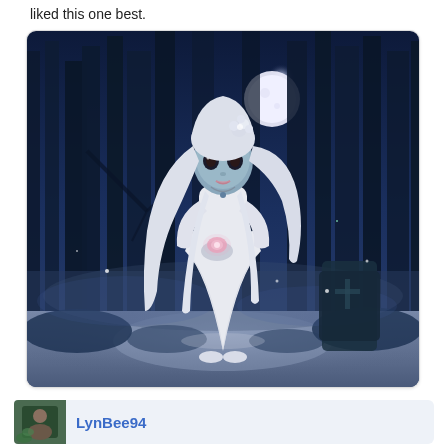liked this one best.
[Figure (illustration): Digital illustration of a ghost girl with long white hair wearing a white gown, standing in a dark moonlit forest with trees and a coffin in the background. She holds a glowing pink flower. A full moon is visible through the trees.]
LynBee94